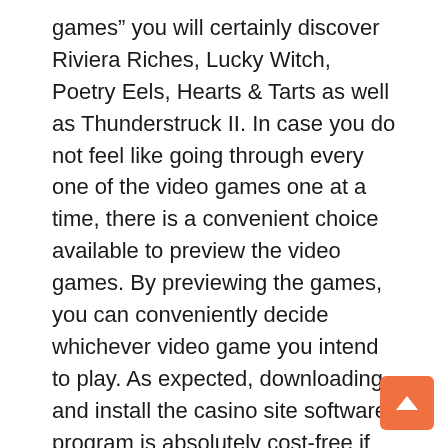games” you will certainly discover Riviera Riches, Lucky Witch, Poetry Eels, Hearts & Tarts as well as Thunderstruck II. In case you do not feel like going through every one of the video games one at a time, there is a convenient choice available to preview the video games. By previewing the games, you can conveniently decide whichever video game you intend to play. As expected, downloading and install the casino site software program is absolutely cost-free if you want to try the ready fun prior to playing with actual money.
The safety plan of Villento Online casino is really rigorous and your personal info and deals are maintained confidential in any way times. Any player at Villento gambling enterprise can assess